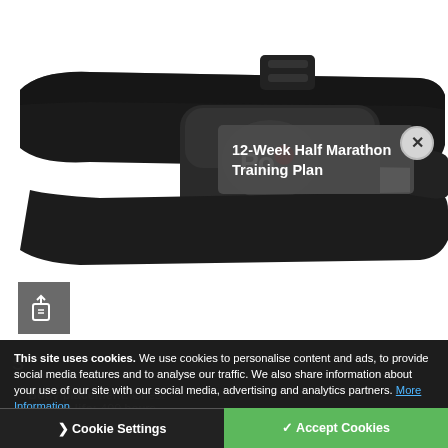[Figure (photo): Polar H10 heart rate monitor chest strap device, black, showing the sensor module with red Polar logo dot, close-up product photo on white background]
12-Week Half Marathon Training Plan
[Figure (other): Share/export button icon in dark grey square]
S
Body placement: Chest
Battery life: 400 hours
This site uses cookies. We use cookies to personalise content and ads, to provide social media features and to analyse our traffic. We also share information about your use of our site with our social media, advertising and analytics partners. More Information
Cookie Settings
✓ Accept Cookies
App compatibility: Polar Beat, Running Apps
Bluetooth connectivity: Yes